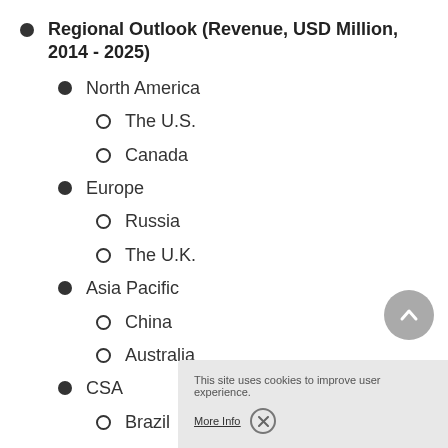Regional Outlook (Revenue, USD Million, 2014 - 2025)
North America
The U.S.
Canada
Europe
Russia
The U.K.
Asia Pacific
China
Australia
CSA
Brazil
Argentina